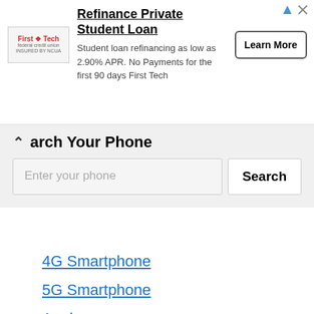[Figure (other): Advertisement banner: First Tech Federal Credit Union logo on the left, headline 'Refinance Private Student Loan', description 'Student loan refinancing as low as 2.90% APR. No Payments for the first 90 days First Tech', and a 'Learn More' button on the right.]
Search Your Phone
Enter your phone [Search]
4G Smartphone
5G Smartphone
Apple
Cat
Honor
Infinix